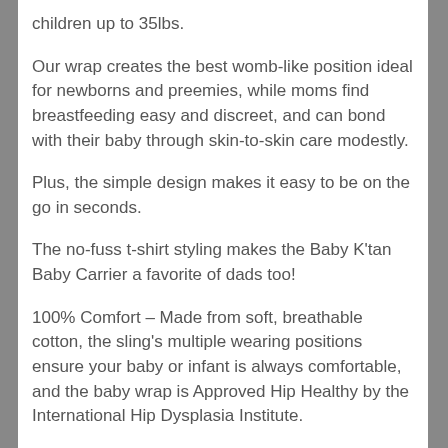children up to 35lbs.
Our wrap creates the best womb-like position ideal for newborns and preemies, while moms find breastfeeding easy and discreet, and can bond with their baby through skin-to-skin care modestly.
Plus, the simple design makes it easy to be on the go in seconds.
The no-fuss t-shirt styling makes the Baby K'tan Baby Carrier a favorite of dads too!
100% Comfort – Made from soft, breathable cotton, the sling's multiple wearing positions ensure your baby or infant is always comfortable, and the baby wrap is Approved Hip Healthy by the International Hip Dysplasia Institute.
The double shoulder sling design evenly distributes